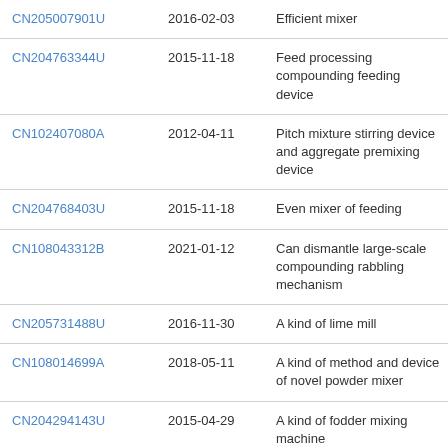| CN205007901U | 2016-02-03 | Efficient mixer |
| CN204763344U | 2015-11-18 | Feed processing compounding feeding device |
| CN102407080A | 2012-04-11 | Pitch mixture stirring device and aggregate premixing device |
| CN204768403U | 2015-11-18 | Even mixer of feeding |
| CN108043312B | 2021-01-12 | Can dismantle large-scale compounding rabbling mechanism |
| CN205731488U | 2016-11-30 | A kind of lime mill |
| CN108014699A | 2018-05-11 | A kind of method and device of novel powder mixer |
| CN204294143U | 2015-04-29 | A kind of fodder mixing machine |
| CN107638823A | 2018-01-30 | The food batch mixer of discharge adjustable rate |